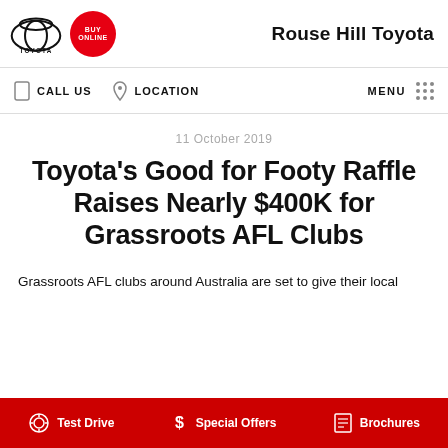Rouse Hill Toyota
CALL US   LOCATION   MENU
11 October 2019
Toyota's Good for Footy Raffle Raises Nearly $400K for Grassroots AFL Clubs
Grassroots AFL clubs around Australia are set to give their local
Test Drive   Special Offers   Brochures